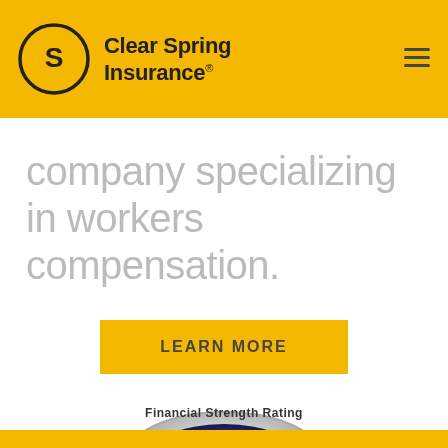Clear Spring Insurance
company specializing in workers compensation.
LEARN MORE
[Figure (logo): AM Best Financial Strength Rating A- Excellent badge logo]